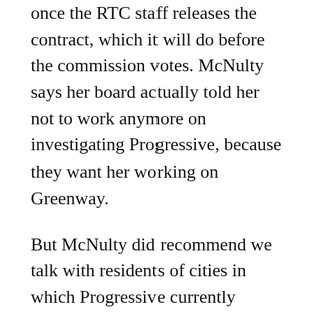once the RTC staff releases the contract, which it will do before the commission votes. McNulty says her board actually told her not to work anymore on investigating Progressive, because they want her working on Greenway.
But McNulty did recommend we talk with residents of cities in which Progressive currently operates, like Pam Steinhagen, who runs a daycare next to the railroad tracks in Lakeville, Minnesota, Progressive’s hometown.
Steinhagen says Progressive has repeatedly ignored her complaints over the years—about